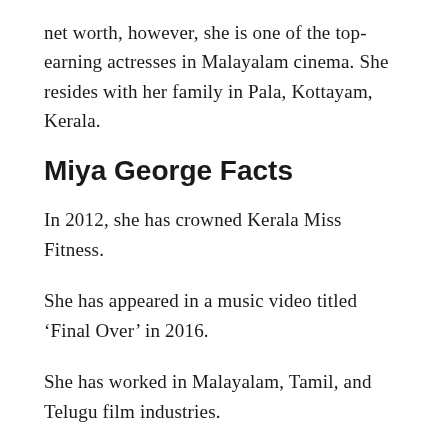net worth, however, she is one of the top-earning actresses in Malayalam cinema. She resides with her family in Pala, Kottayam, Kerala.
Miya George Facts
In 2012, she has crowned Kerala Miss Fitness.
She has appeared in a music video titled ‘Final Over’ in 2016.
She has worked in Malayalam, Tamil, and Telugu film industries.
Her parents have Malayal ancestry.